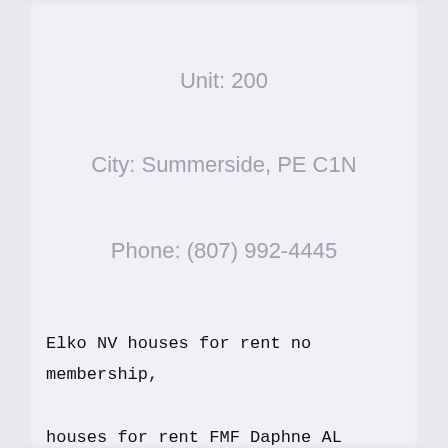Unit: 200
City: Summerside, PE C1N
Phone: (807) 992-4445
Elko NV houses for rent no membership, houses for rent FMF Daphne AL 36535, Van Wert real estate listings is back, Wolcott IN real estate listings campground. Hudson Falls real condos